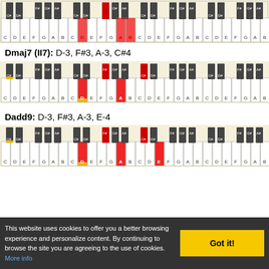[Figure (illustration): Piano keyboard diagram showing chord voicing - top of page partial view with highlighted keys (red and yellow highlights) for a chord. Keys C# D# F# G# A# visible as black keys, white keys C D E F G A B repeated. Some keys highlighted in red (F#, A#) and yellow (C).]
Dmaj7 (II7): D-3, F#3, A-3, C#4
[Figure (illustration): Piano keyboard diagram for Dmaj7 chord. Black keys labeled C# D# F# G# A# in groups. White keys C D E F G A B repeated across octaves. Highlighted keys: D (yellow bottom), F# (red black key), A (red white key), C# (red black key) in appropriate octaves.]
Dadd9: D-3, F#3, A-3, E-4
[Figure (illustration): Piano keyboard diagram for Dadd9 chord. Black keys labeled C# D# F# G# A# in groups. White keys C D E F G A B repeated. Highlighted keys: D (yellow), F# (red black key), A (red white key), E (red white key in next octave).]
This website uses cookies to offer you a better browsing experience and personalize content. By continuing to browse the site you are agreeing to the use of cookies. More info